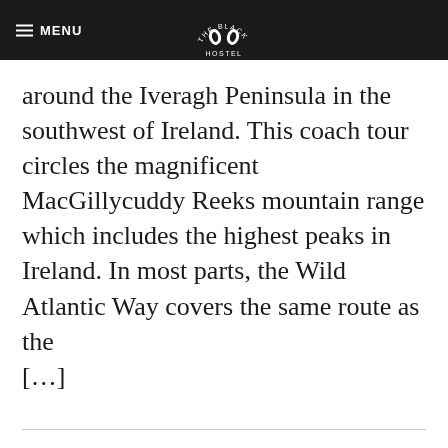MENU | THE BLACK SHEEP HOSTEL
around the Iveragh Peninsula in the southwest of Ireland. This coach tour circles the magnificent MacGillycuddy Reeks mountain range which includes the highest peaks in Ireland. In most parts, the Wild Atlantic Way covers the same route as the [...]